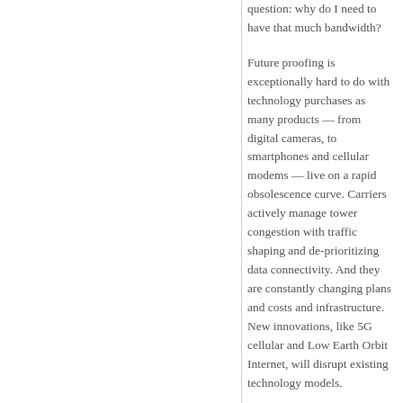question: why do I need to have that much bandwidth?

Future proofing is exceptionally hard to do with technology purchases as many products — from digital cameras, to smartphones and cellular modems — live on a rapid obsolescence curve. Carriers actively manage tower congestion with traffic shaping and de-prioritizing data connectivity. And they are constantly changing plans and costs and infrastructure. New innovations, like 5G cellular and Low Earth Orbit Internet, will disrupt existing technology models.